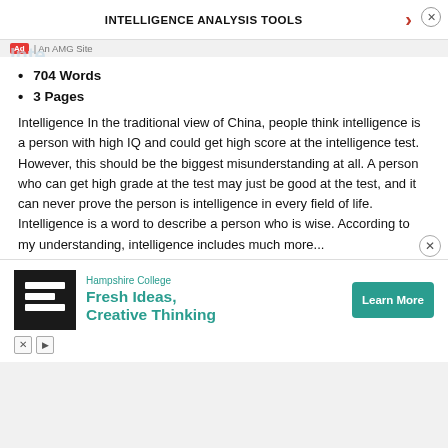INTELLIGENCE ANALYSIS TOOLS
704 Words
3 Pages
Intelligence In the traditional view of China, people think intelligence is a person with high IQ and could get high score at the intelligence test. However, this should be the biggest misunderstanding at all. A person who can get high grade at the test may just be good at the test, and it can never prove the person is intelligence in every field of life. Intelligence is a word to describe a person who is wise. According to my understanding, intelligence includes much more...
[Figure (infographic): Hampshire College advertisement banner with logo, 'Fresh Ideas, Creative Thinking' headline, and 'Learn More' button]